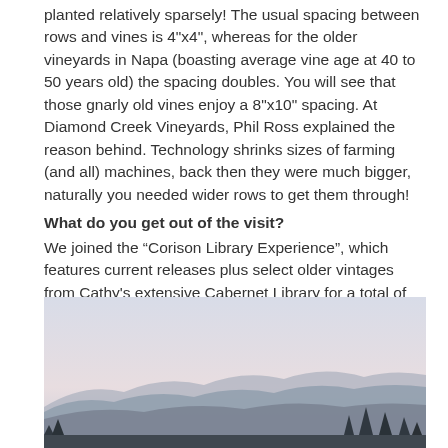planted relatively sparsely! The usual spacing between rows and vines is 4"x4", whereas for the older vineyards in Napa (boasting average vine age at 40 to 50 years old) the spacing doubles. You will see that those gnarly old vines enjoy a 8"x10" spacing. At Diamond Creek Vineyards, Phil Ross explained the reason behind. Technology shrinks sizes of farming (and all) machines, back then they were much bigger, naturally you needed wider rows to get them through!
What do you get out of the visit?
We joined the “Corison Library Experience”, which features current releases plus select older vintages from Cathy's extensive Cabernet Library for a total of six wines, including their signature Corison Napa Valley Cabernet Sauvignon and their Estate wine, Kronos Vineyard Cabernet Sauvignon. ($65)
http://www.corison.com
[Figure (photo): Landscape photograph of a valley with rolling hills in the background under a pale hazy sky. The foreground shows the bottom edge of the image with dark tree silhouettes visible at the bottom right.]